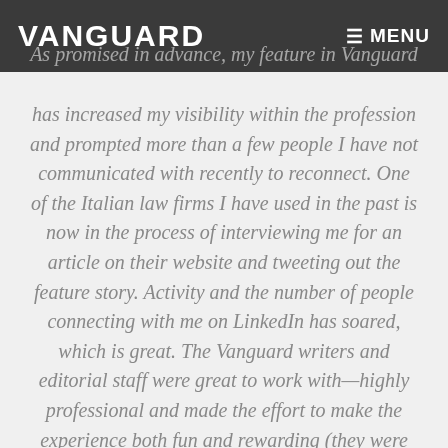VANGUARD
As promised in advance, my feature in Vanguard has increased my visibility within the profession and prompted more than a few people I have not communicated with recently to reconnect. One of the Italian law firms I have used in the past is now in the process of interviewing me for an article on their website and tweeting out the feature story. Activity and the number of people connecting with me on LinkedIn has soared, which is great. The Vanguard writers and editorial staff were great to work with—highly professional and made the effort to make the experience both fun and rewarding (they were also respectful of the time pressures and